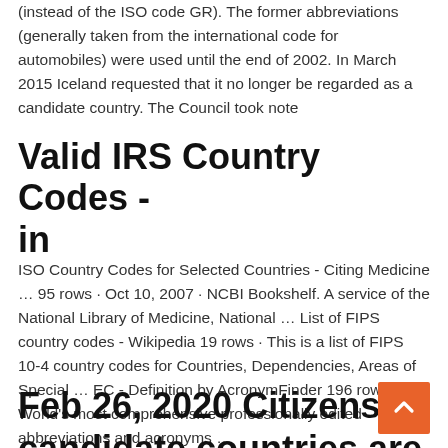(instead of the ISO code GR). The former abbreviations (generally taken from the international code for automobiles) were used until the end of 2002. In March 2015 Iceland requested that it no longer be regarded as a candidate country. The Council took note
Valid IRS Country Codes - in
ISO Country Codes for Selected Countries - Citing Medicine … 95 rows · Oct 10, 2007 · NCBI Bookshelf. A service of the National Library of Medicine, National … List of FIPS country codes - Wikipedia 19 rows · This is a list of FIPS 10-4 country codes for Countries, Dependencies, Areas of Special … EC - Definition by AcronymFinder 196 rows · The World's most comprehensive professionally edited abbreviations and acronyms …
Feb 26, 2020 Citizens of candidate countries are not